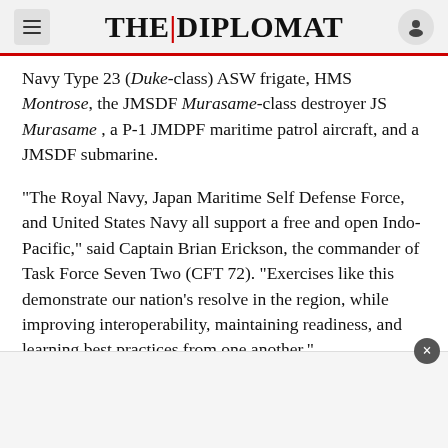THE DIPLOMAT
Navy Type 23 (Duke-class) ASW frigate, HMS Montrose, the JMSDF Murasame-class destroyer JS Murasame , a P-1 JMDPF maritime patrol aircraft, and a JMSDF submarine.
“The Royal Navy, Japan Maritime Self Defense Force, and United States Navy all support a free and open Indo-Pacific,” said Captain Brian Erickson, the commander of Task Force Seven Two (CFT 72). “Exercises like this demonstrate our nation’s resolve in the region, while improving interoperability, maintaining readiness, and learning best practices from one another.”
[Figure (other): Advertisement box at the bottom of the page with a close (x) button]